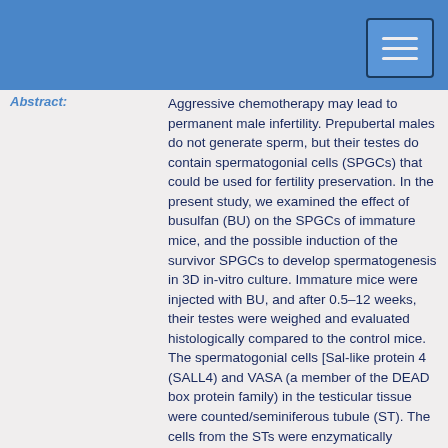Abstract:
Aggressive chemotherapy may lead to permanent male infertility. Prepubertal males do not generate sperm, but their testes do contain spermatogonial cells (SPGCs) that could be used for fertility preservation. In the present study, we examined the effect of busulfan (BU) on the SPGCs of immature mice, and the possible induction of the survivor SPGCs to develop spermatogenesis in 3D in-vitro culture. Immature mice were injected with BU, and after 0.5–12 weeks, their testes were weighed and evaluated histologically compared to the control mice. The spermatogonial cells [Sal-like protein 4 (SALL4) and VASA (a member of the DEAD box protein family) in the testicular tissue were counted/seminiferous tubule (ST). The cells from the STs were enzymatically isolated and cultured in vitro. Our results showed a significant